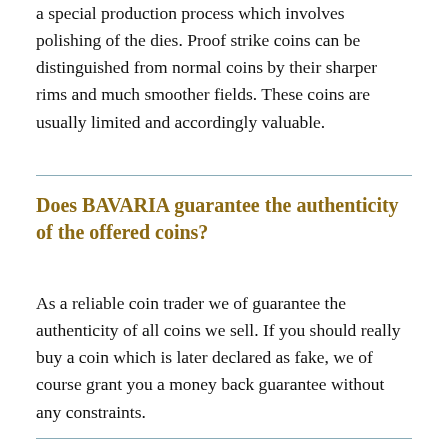a special production process which involves polishing of the dies. Proof strike coins can be distinguished from normal coins by their sharper rims and much smoother fields. These coins are usually limited and accordingly valuable.
Does BAVARIA guarantee the authenticity of the offered coins?
As a reliable coin trader we of guarantee the authenticity of all coins we sell. If you should really buy a coin which is later declared as fake, we of course grant you a money back guarantee without any constraints.